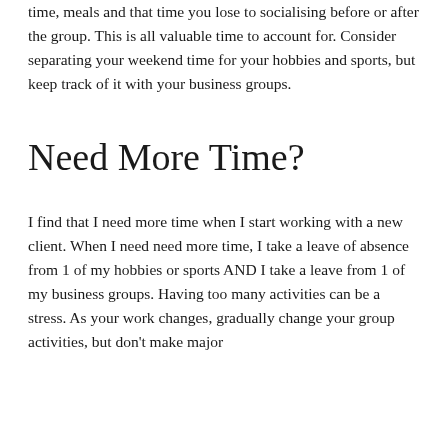time, meals and that time you lose to socialising before or after the group. This is all valuable time to account for. Consider separating your weekend time for your hobbies and sports, but keep track of it with your business groups.
Need More Time?
I find that I need more time when I start working with a new client. When I need need more time, I take a leave of absence from 1 of my hobbies or sports AND I take a leave from 1 of my business groups. Having too many activities can be a stress. As your work changes, gradually change your group activities, but don't make major